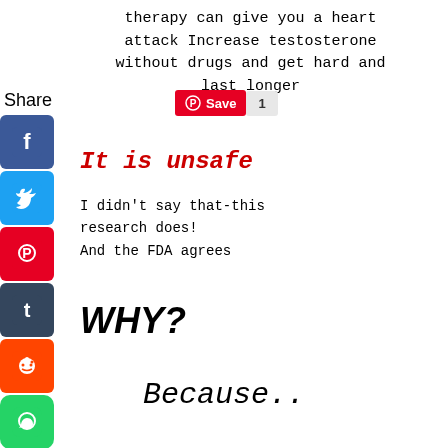therapy can give you a heart attack Increase testosterone without drugs and get hard and last longer
[Figure (other): Pinterest Save button with count of 1]
Share
[Figure (other): Social media share icons: Facebook, Twitter, Pinterest, Tumblr, Reddit, WhatsApp, Messenger, and a left arrow]
It is unsafe
I didn't say that-this research does!
And the FDA agrees
WHY?
Because..